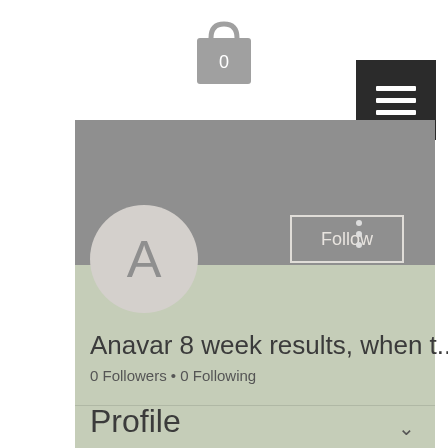[Figure (screenshot): Shopping bag icon with number 0 displayed at the top center of the page]
[Figure (screenshot): Dark hamburger menu button with three horizontal white lines, top right area]
[Figure (screenshot): User profile page screenshot showing a gray banner header, circular avatar with letter A, Follow button, three-dot menu, username 'Anavar 8 week results, when t...', 0 Followers and 0 Following, dropdown chevron, and Profile section header on light green/sage background]